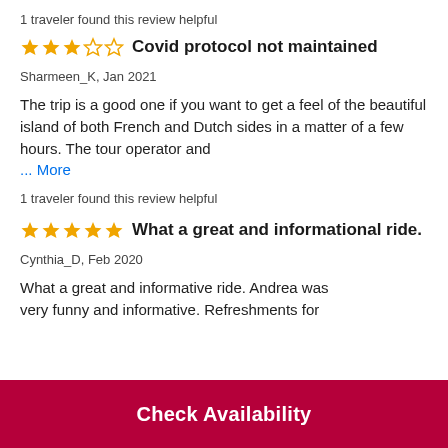1 traveler found this review helpful
Covid protocol not maintained
Sharmeen_K, Jan 2021
The trip is a good one if you want to get a feel of the beautiful island of both French and Dutch sides in a matter of a few hours. The tour operator and … More
1 traveler found this review helpful
What a great and informational ride.
Cynthia_D, Feb 2020
What a great and informative ride. Andrea was very funny and informative. Refreshments for
Check Availability